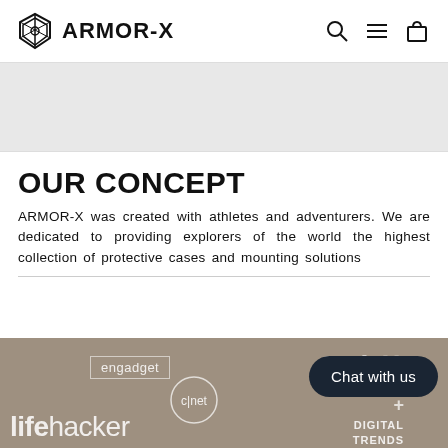ARMOR-X
[Figure (photo): Grey hero banner image area]
OUR CONCEPT
ARMOR-X was created with athletes and adventurers. We are dedicated to providing explorers of the world the highest collection of protective cases and mounting solutions
[Figure (photo): Media logos band showing engadget, Mashable, cnet, lifehacker, Digital Trends logos on a brownish-grey background, with a 'Chat with us' button overlay]